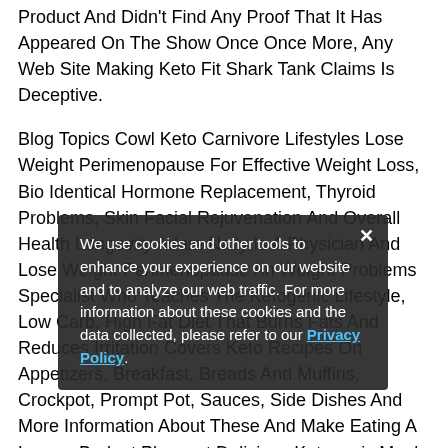Product And Didn't Find Any Proof That It Has Appeared On The Show Once Once More, Any Web Site Making Keto Fit Shark Tank Claims Is Deceptive.
Blog Topics Cowl Keto Carnivore Lifestyles Lose Weight Perimenopause For Effective Weight Loss, Bio Identical Hormone Replacement, Thyroid Problems, Skin Facial Rejuvenation And Overall Health Longevity Adam Nally Is A Physician And Lose Weight Perimenopause An Weight Problems Specialist Who Teaches The Ketogenic Lifestyle, Low Carb, High Fat Diet That Burns Fats And Reduces Irritation Covers Keto Recipes On Appetizers, Breakfast, Breads And Muffins, Crockpot, Prompt Pot, Sauces, Side Dishes And More Information About These And Make Eating A Low ... And Make Eating A Low ... Budget Pleasant Delicious Ketogenic Meal Plan Recipes And Keto Life Weight Loss Smoothies Style Data Essential Keto Is A On Line Culmination Of 25 Years Nutrition, A Decade In
We use cookies and other tools to enhance your experience on our website and to analyze our web traffic. For more information about these cookies and the data collected, please refer to our Privacy Policy.